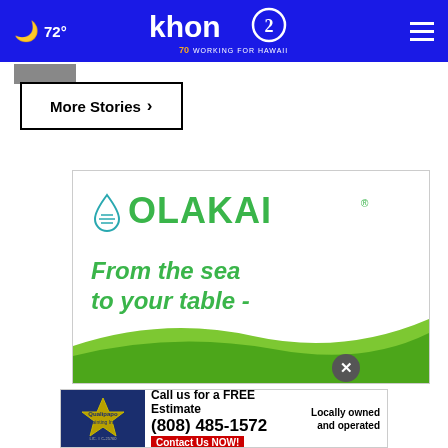72° khon2 WORKING FOR HAWAII
[Figure (screenshot): Small thumbnail image partially visible at top left below header]
More Stories ›
[Figure (illustration): OLAKAI advertisement banner with green wave design. Text reads: OLAKAI, From the sea to your table -]
[Figure (illustration): Qualipapo Painting Inc. advertisement. Call us for a FREE Estimate (808) 485-1572. Locally owned and operated. Contact Us NOW! LIC. # C-25760]